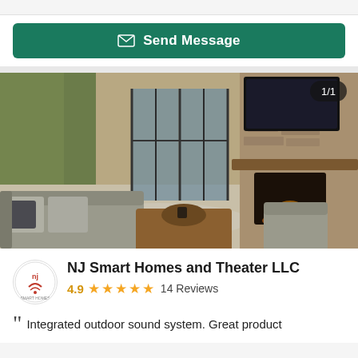[Figure (screenshot): Send Message button — teal/green rounded rectangle with envelope icon and white text 'Send Message']
[Figure (photo): Outdoor patio with stone fireplace, wall-mounted TV, teak wood furniture with grey cushions, and glass doors to home interior. Badge showing 1/1 in top-right corner.]
NJ Smart Homes and Theater LLC
4.9 ★★★★★ 14 Reviews
Integrated outdoor sound system. Great product